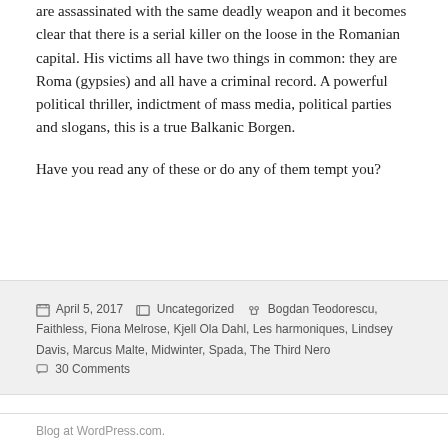are assassinated with the same deadly weapon and it becomes clear that there is a serial killer on the loose in the Romanian capital. His victims all have two things in common: they are Roma (gypsies) and all have a criminal record. A powerful political thriller, indictment of mass media, political parties and slogans, this is a true Balkanic Borgen.
Have you read any of these or do any of them tempt you?
April 5, 2017   Uncategorized   Bogdan Teodorescu, Faithless, Fiona Melrose, Kjell Ola Dahl, Les harmoniques, Lindsey Davis, Marcus Malte, Midwinter, Spada, The Third Nero
30 Comments
Blog at WordPress.com.